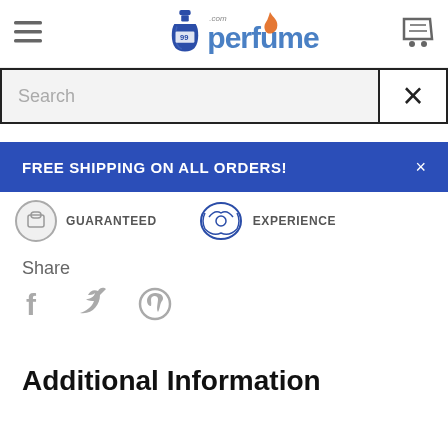[Figure (logo): 99perfume.com logo with blue perfume bottle icon and orange flame]
[Figure (screenshot): Search input bar with placeholder text 'Search' and X close button]
FREE SHIPPING ON ALL ORDERS!
[Figure (infographic): Trust badge icons: GUARANTEED and EXPERIENCE]
Share
[Figure (infographic): Social share icons: Facebook, Twitter, Pinterest]
Additional Information